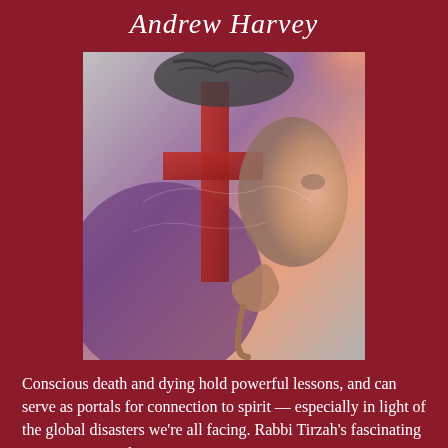Andrew Harvey
[Figure (photo): Double-exposure artistic photo of a person's profile with a glowing cross and hand overlaid, showing spiritual themes with purple and orange color tones]
Conscious death and dying hold powerful lessons, and can serve as portals for connection to spirit — especially in light of the global disasters we're all facing. Rabbi Tirzah's fascinating conversation with